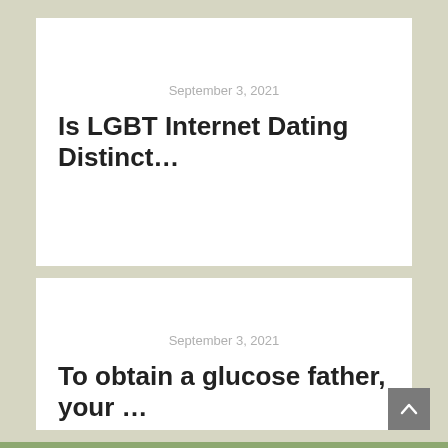September 3, 2021
Is LGBT Internet Dating Distinct…
September 3, 2021
To obtain a glucose father, your …